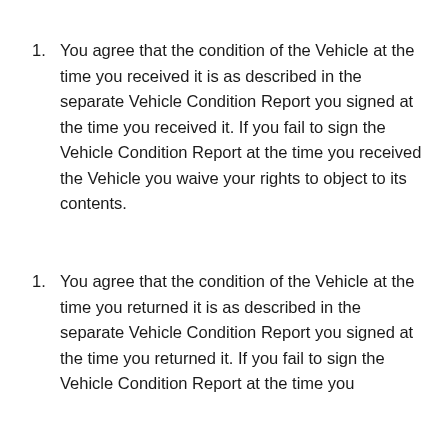1. You agree that the condition of the Vehicle at the time you received it is as described in the separate Vehicle Condition Report you signed at the time you received it. If you fail to sign the Vehicle Condition Report at the time you received the Vehicle you waive your rights to object to its contents.
1. You agree that the condition of the Vehicle at the time you returned it is as described in the separate Vehicle Condition Report you signed at the time you returned it. If you fail to sign the Vehicle Condition Report at the time you